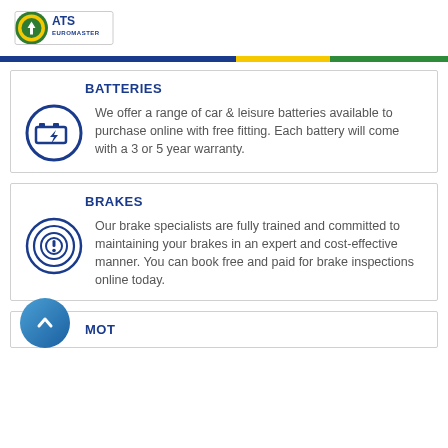[Figure (logo): ATS Euromaster logo — circular green and yellow graphic with 'ATS EUROMASTER' text in blue]
BATTERIES
We offer a range of car & leisure batteries available to purchase online with free fitting. Each battery will come with a 3 or 5 year warranty.
BRAKES
Our brake specialists are fully trained and committed to maintaining your brakes in an expert and cost-effective manner. You can book free and paid for brake inspections online today.
MOT